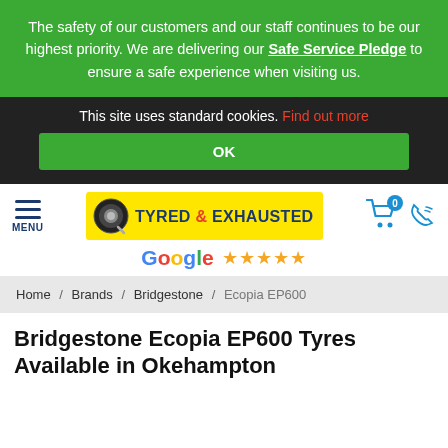The safety of our customers and our staff continues to be our highest priority. We are delivering our Safe Service Pledge to ensure a safe experience when visiting us.
This site uses standard cookies. Find out more
OK
[Figure (logo): Tyred & Exhausted logo on yellow background with tire icon]
Google ★★★★★
Home / Brands / Bridgestone / Ecopia EP600
Bridgestone Ecopia EP600 Tyres Available in Okehampton